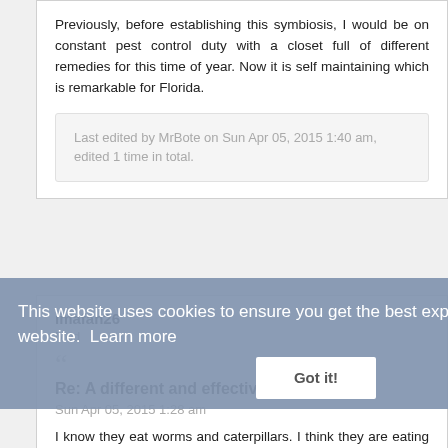Previously, before establishing this symbiosis, I would be on constant pest control duty with a closet full of different remedies for this time of year. Now it is self maintaining which is remarkable for Florida.
Last edited by MrBote on Sun Apr 05, 2015 1:40 am, edited 1 time in total.
imafan26
Mod
Re: A different and effective bug control
Sun Apr 05, 2015 1:28 am
I know they eat worms and caterpillars. I think they are eating beetles because I haven't seen the Chinese
This website uses cookies to ensure you get the best experience on our website. Learn more
Got it!